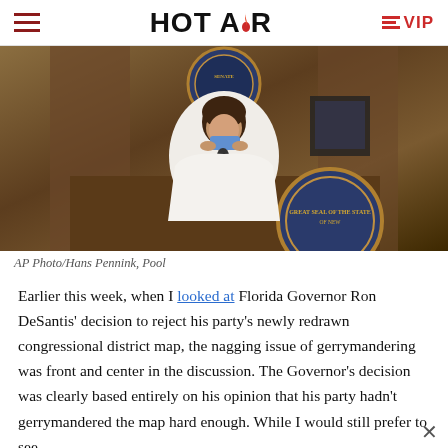HOT AIR | VIP
[Figure (photo): A woman in a white jacket at a podium with New York State Senate seal, removing or adjusting a blue face mask]
AP Photo/Hans Pennink, Pool
Earlier this week, when I looked at Florida Governor Ron DeSantis’ decision to reject his party’s newly redrawn congressional district map, the nagging issue of gerrymandering was front and center in the discussion. The Governor’s decision was clearly based entirely on his opinion that his party hadn’t gerrymandered the map hard enough. While I would still prefer to see